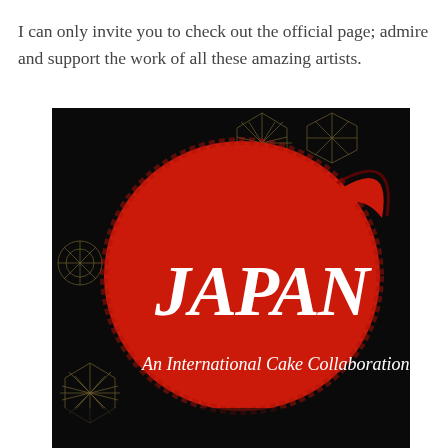I can only invite you to check out the official page; admire and support the work of all these amazing artists.
[Figure (illustration): Logo for 'JAPAN – An International Cake Collaboration'. Black background with golden geometric Japanese patterns (kumiko) on the left and top-right corners. A large red brushstroke circle (enso) dominates the center, with the word 'JAPAN' in large white stylized calligraphic letters across the middle, and the subtitle 'An International Cake Collaboration' in white serif text below.]